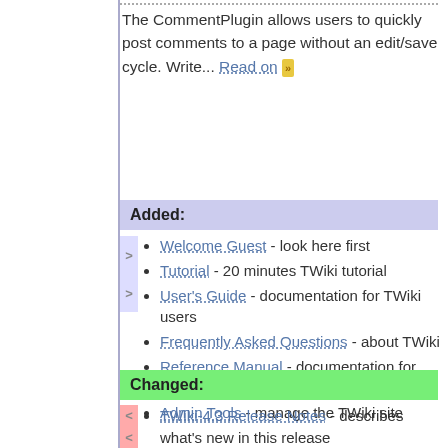The CommentPlugin allows users to quickly post comments to a page without an edit/save cycle. Write... Read on »
Added:
Welcome Guest - look here first
Tutorial - 20 minutes TWiki tutorial
User's Guide - documentation for TWiki users
Frequently Asked Questions - about TWiki
Reference Manual - documentation for system administrators
Admin Tools - manage the TWiki site
Changed:
TWiki-4.3 Release Notes - describes what's new in this release